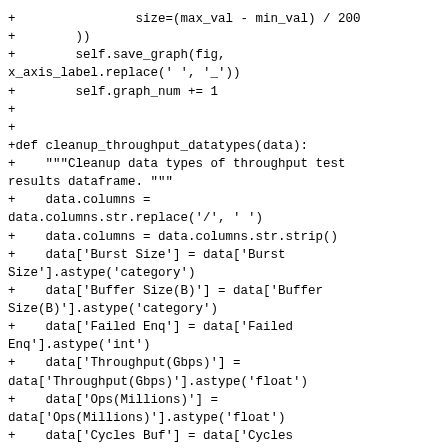+                size=(max_val - min_val) / 200
+        ))
+        self.save_graph(fig, x_axis_label.replace(' ', '_'))
+        self.graph_num += 1
+
+
+def cleanup_throughput_datatypes(data):
+    """Cleanup data types of throughput test results dataframe. """
+    data.columns = data.columns.str.replace('/', ' ')
+    data.columns = data.columns.str.strip()
+    data['Burst Size'] = data['Burst Size'].astype('category')
+    data['Buffer Size(B)'] = data['Buffer Size(B)'].astype('category')
+    data['Failed Enq'] = data['Failed Enq'].astype('int')
+    data['Throughput(Gbps)'] = data['Throughput(Gbps)'].astype('float')
+    data['Ops(Millions)'] = data['Ops(Millions)'].astype('float')
+    data['Cycles Buf'] = data['Cycles Buf'].astype('float')
+    return data
+
+
+def cleanup_latency_datatypes(data):
+    """Cleanup data types of latency test